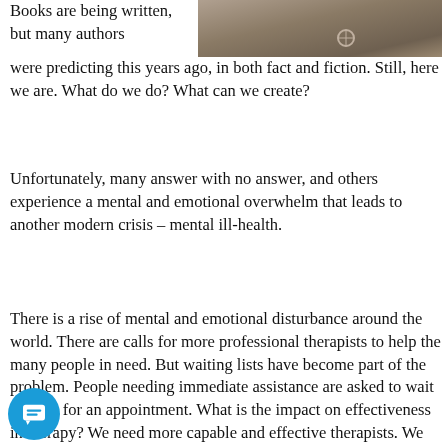[Figure (photo): Partial photo of a person wearing a brown/olive shirt, cropped at the top of the page on the right side]
Books are being written, but many authors were predicting this years ago, in both fact and fiction. Still, here we are. What do we do? What can we create?
Unfortunately, many answer with no answer, and others experience a mental and emotional overwhelm that leads to another modern crisis – mental ill-health.
There is a rise of mental and emotional disturbance around the world. There are calls for more professional therapists to help the many people in need. But waiting lists have become part of the problem. People needing immediate assistance are asked to wait months for an appointment. What is the impact on effectiveness in therapy? We need more capable and effective therapists. We need to encourage what Scott Miller and others describe as